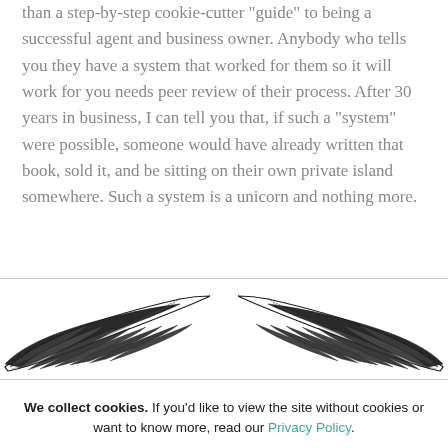than a step-by-step cookie-cutter "guide" to being a successful agent and business owner. Anybody who tells you they have a system that worked for them so it will work for you needs peer review of their process. After 30 years in business, I can tell you that, if such a “system” were possible, someone would have already written that book, sold it, and be sitting on their own private island somewhere. Such a system is a unicorn and nothing more.
[Figure (illustration): Decorative wings illustration — two symmetrical feathered wings spread apart, dark ink engraving style, centered on the page as a divider.]
We collect cookies. If you'd like to view the site without cookies or want to know more, read our Privacy Policy.